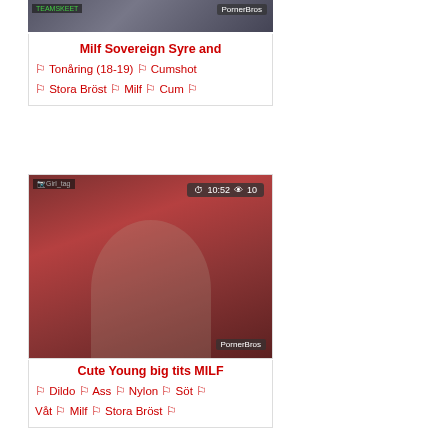[Figure (screenshot): Video thumbnail with PornerBros watermark, top card]
Milf Sovereign Syre and 🏷 Tonåring (18-19) 🏷 Cumshot 🏷 Stora Bröst 🏷 Milf 🏷 Cum 🏷
[Figure (screenshot): Video thumbnail showing woman, duration 10:52, views 10, PornerBros watermark]
Cute Young big tits MILF 🏷 Dildo 🏷 Ass 🏷 Nylon 🏷 Söt 🏷 Våt 🏷 Milf 🏷 Stora Bröst 🏷
[Figure (screenshot): Video thumbnail showing two women, duration 13:12, views 9, PornerBros watermark]